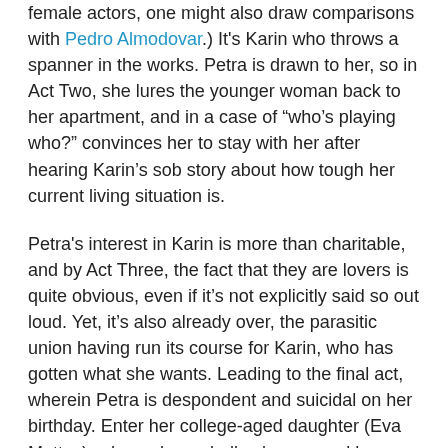female actors, one might also draw comparisons with Pedro Almodovar.) It's Karin who throws a spanner in the works. Petra is drawn to her, so in Act Two, she lures the younger woman back to her apartment, and in a case of “who’s playing who?” convinces her to stay with her after hearing Karin’s sob story about how tough her current living situation is.
Petra's interest in Karin is more than charitable, and by Act Three, the fact that they are lovers is quite obvious, even if it’s not explicitly said so out loud. Yet, it’s also already over, the parasitic union having run its course for Karin, who has gotten what she wants. Leading to the final act, wherein Petra is despondent and suicidal on her birthday. Enter her college-aged daughter (Eva Mattes), whom she verbally abuses, and her aristocratic mother (Gisela Fackeldey), who clearly still rules the roost despite Petra’s many successes, and we see the pattern of three generations of broken women and their dysfunctional understandings of love. Petra lays everything bare, possibly making it clear for the first time for some of the more sheltered viewers in the early-’70s audience, and the melodrama reaches a crescendo.